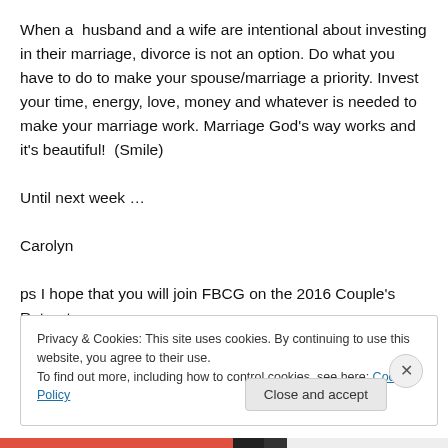When a  husband and a wife are intentional about investing in their marriage, divorce is not an option. Do what you have to do to make your spouse/marriage a priority. Invest your time, energy, love, money and whatever is needed to make your marriage work. Marriage God's way works and it's beautiful!  (Smile)
Until next week …
Carolyn
ps I hope that you will join FBCG on the 2016 Couple's Retreat.
Privacy & Cookies: This site uses cookies. By continuing to use this website, you agree to their use.
To find out more, including how to control cookies, see here: Cookie Policy